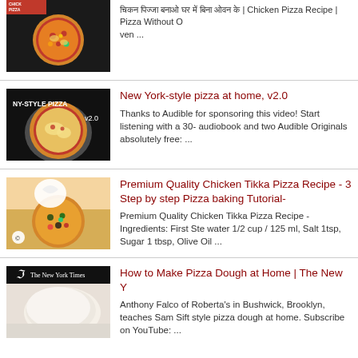[Figure (screenshot): Thumbnail of chicken pizza with red banner at top left]
चिकन पिज्जा बनाओ घर में बिना ओवन के | Chicken Pizza Recipe | Pizza Without O...
[Figure (screenshot): Thumbnail of NY-style pizza with text NY-STYLE PIZZA v2.0]
New York-style pizza at home, v2.0
Thanks to Audible for sponsoring this video! Start listening with a 30- audiobook and two Audible Originals absolutely free: ...
[Figure (screenshot): Thumbnail of Chicken Tikka Pizza being prepared]
Premium Quality Chicken Tikka Pizza Recipe - 3: Step by step Pizza baking Tutorial-
Premium Quality Chicken Tikka Pizza Recipe - Ingredients: First Ste water 1/2 cup / 125 ml, Salt 1tsp, Sugar 1 tbsp, Olive Oil ...
[Figure (screenshot): Thumbnail of pizza dough ball with New York Times logo]
How to Make Pizza Dough at Home | The New Y
Anthony Falco of Roberta's in Bushwick, Brooklyn, teaches Sam Sift style pizza dough at home. Subscribe on YouTube: ...